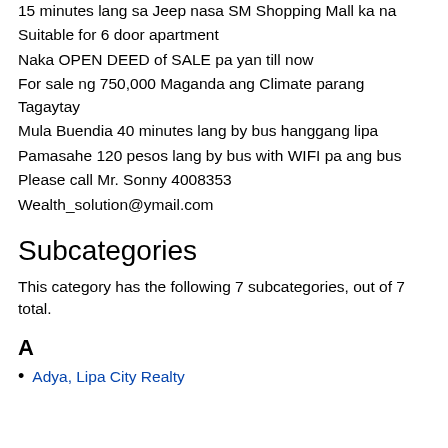15 minutes lang sa Jeep nasa SM Shopping Mall ka na
Suitable for 6 door apartment
Naka OPEN DEED of SALE pa yan till now
For sale ng 750,000 Maganda ang Climate parang Tagaytay
Mula Buendia 40 minutes lang by bus hanggang lipa
Pamasahe 120 pesos lang by bus with WIFI pa ang bus
Please call Mr. Sonny 4008353
Wealth_solution@ymail.com
Subcategories
This category has the following 7 subcategories, out of 7 total.
A
Adya, Lipa City Realty